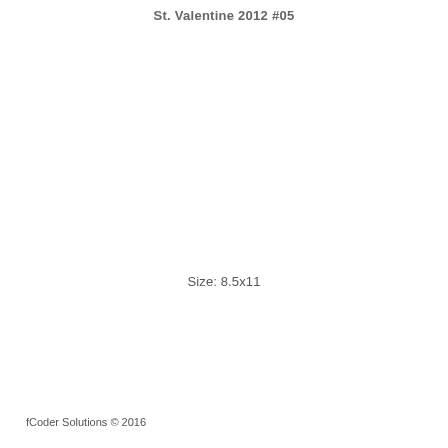St. Valentine 2012 #05
Size: 8.5x11
fCoder Solutions © 2016